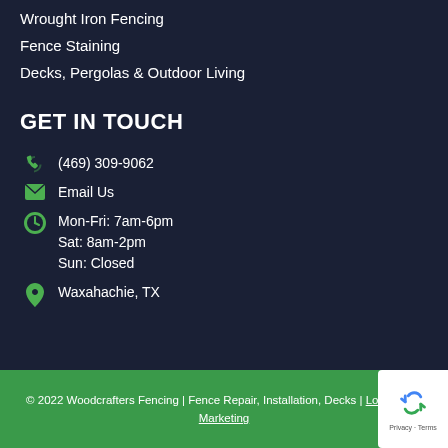Wrought Iron Fencing
Fence Staining
Decks, Pergolas & Outdoor Living
GET IN TOUCH
(469) 309-9062
Email Us
Mon-Fri: 7am-6pm
Sat: 8am-2pm
Sun: Closed
Waxahachie, TX
© 2022 Woodcrafters Fencing | Fence Repair, Installation, Decks | Local Leap Marketing